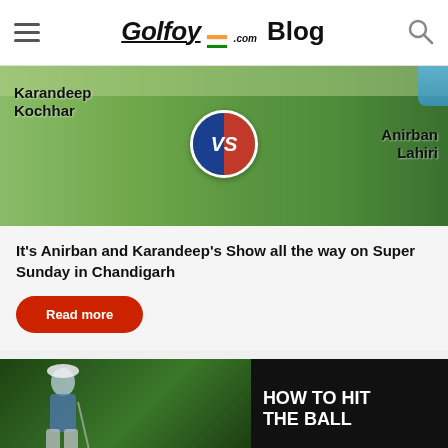Golfoy.com Blog
[Figure (photo): Golf image showing Karandeep Kochhar vs Anirban Lahiri with VS circle logo on golf course]
It's Anirban and Karandeep's Show all the way on Super Sunday in Chandigarh
Read more
[Figure (photo): Golfer crouching with HOW TO HIT THE BALL text on dark background]